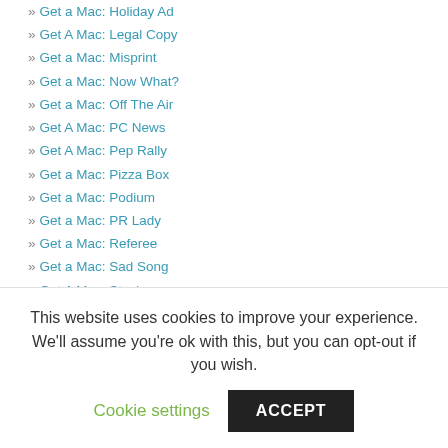» Get a Mac: Holiday Ad
» Get A Mac: Legal Copy
» Get a Mac: Misprint
» Get a Mac: Now What?
» Get a Mac: Off The Air
» Get A Mac: PC News
» Get A Mac: Pep Rally
» Get a Mac: Pizza Box
» Get a Mac: Podium
» Get a Mac: PR Lady
» Get a Mac: Referee
» Get a Mac: Sad Song
» Get A Mac: Stack
» Get a Mac: Throne
» Get a Mac: Time Machine
» Get A Mac: Time Traveler
» Get a Mac: V-Word
This website uses cookies to improve your experience. We'll assume you're ok with this, but you can opt-out if you wish.
Cookie settings | ACCEPT